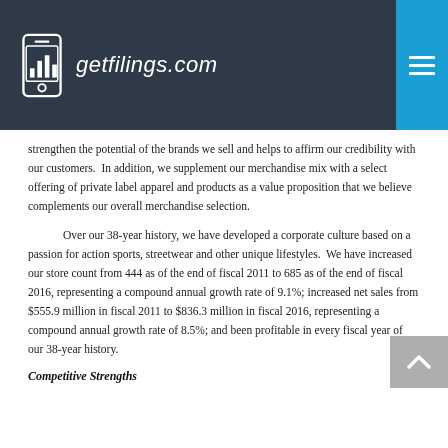getfilings.com
strengthen the potential of the brands we sell and helps to affirm our credibility with our customers.  In addition, we supplement our merchandise mix with a select offering of private label apparel and products as a value proposition that we believe complements our overall merchandise selection.
Over our 38-year history, we have developed a corporate culture based on a passion for action sports, streetwear and other unique lifestyles.  We have increased our store count from 444 as of the end of fiscal 2011 to 685 as of the end of fiscal 2016, representing a compound annual growth rate of 9.1%; increased net sales from $555.9 million in fiscal 2011 to $836.3 million in fiscal 2016, representing a compound annual growth rate of 8.5%; and been profitable in every fiscal year of our 38-year history.
Competitive Strengths